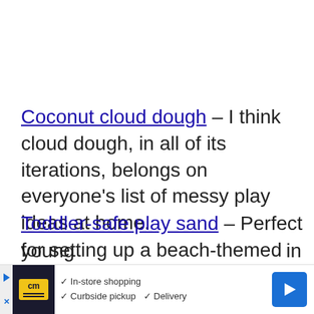Coconut cloud dough – I think cloud dough, in all of its iterations, belongs on everyone's list of messy play ideas at home.
Toddler-safe play sand – Perfect for setting up a beach-themed sensory bin for the kids.
Cool Whip sensory activities – For the young… in
[Figure (other): Advertisement banner for a store/service showing logo 'cm', In-store shopping, Curbside pickup, Delivery options, and a blue navigation arrow icon]